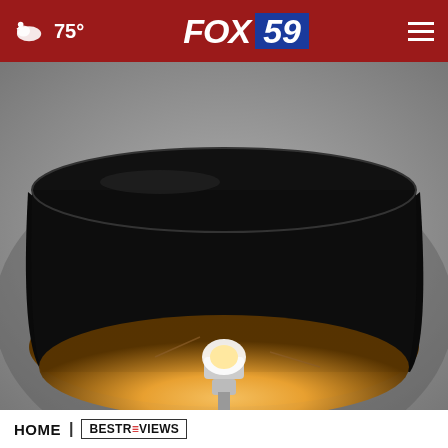75° FOX 59
[Figure (photo): A black cylindrical lamp shade photographed from below at an angle, with the interior illuminated in warm orange/gold tones, showing the light bulb and lamp hardware. Background is a blurred gray wall.]
HOME | BESTREVIEWS